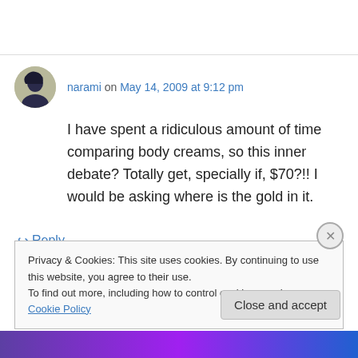narami on May 14, 2009 at 9:12 pm
I have spent a ridiculous amount of time comparing body creams, so this inner debate? Totally get, specially if, $70?!! I would be asking where is the gold in it.
↳ Reply
Privacy & Cookies: This site uses cookies. By continuing to use this website, you agree to their use. To find out more, including how to control cookies, see here: Cookie Policy
Close and accept